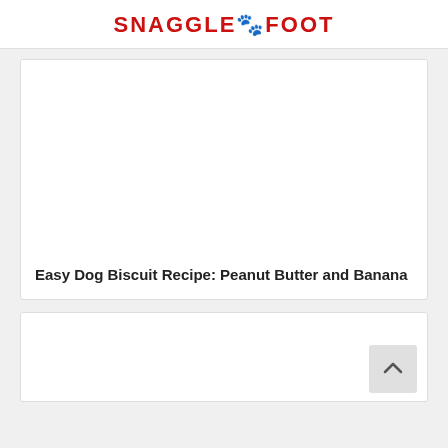SNAGGLEFOOT
[Figure (other): Card with empty image area for a dog biscuit recipe article]
Easy Dog Biscuit Recipe: Peanut Butter and Banana
[Figure (other): Second card partially visible at bottom of page with a scroll-to-top button]